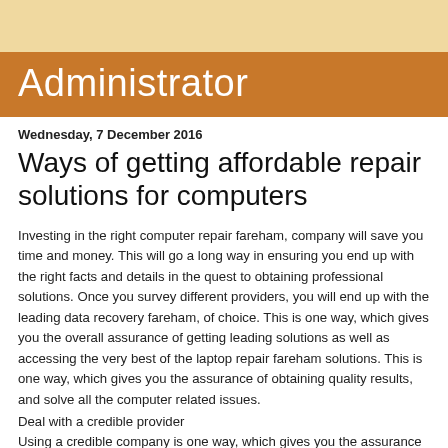Administrator
Wednesday, 7 December 2016
Ways of getting affordable repair solutions for computers
Investing in the right computer repair fareham, company will save you time and money. This will go a long way in ensuring you end up with the right facts and details in the quest to obtaining professional solutions. Once you survey different providers, you will end up with the leading data recovery fareham, of choice. This is one way, which gives you the overall assurance of getting leading solutions as well as accessing the very best of the laptop repair fareham solutions. This is one way, which gives you the assurance of obtaining quality results, and solve all the computer related issues.
Deal with a credible provider
Using a credible company is one way, which gives you the assurance of ending up with leading computer solutions. You have the overall chance of getting quality results since you have the best chance towards accessing leading